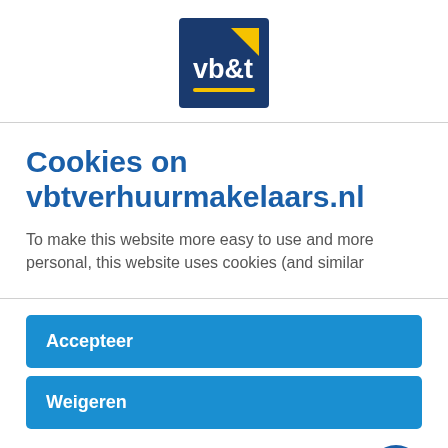[Figure (logo): vb&t logo: dark blue square with white 'vb&t' text, yellow triangle and yellow underline]
Cookies on vbtverhuurmakelaars.nl
To make this website more easy to use and more personal, this website uses cookies (and similar
Accepteer
Weigeren
Cookie instellingen